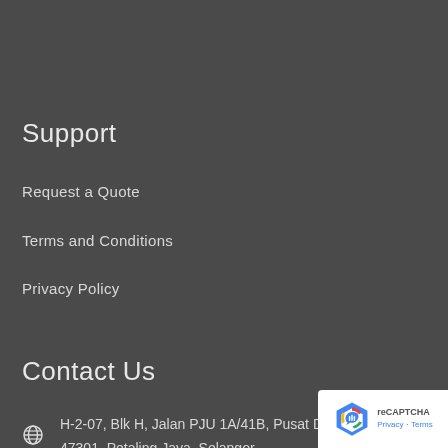Support
Request a Quote
Terms and Conditions
Privacy Policy
Contact Us
H-2-07, Blk H, Jalan PJU 1A/41B, Pusat Dagangan NZX, Ara
47301, Petaling Jaya, Selangor